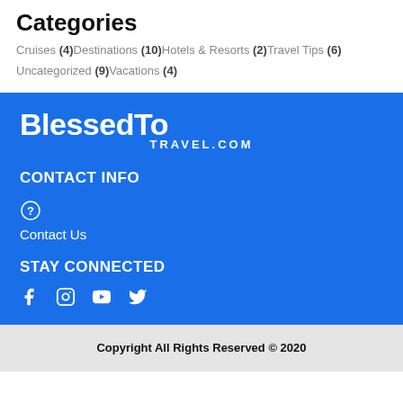Categories
Cruises (4)
Destinations (10)
Hotels & Resorts (2)
Travel Tips (6)
Uncategorized (9)
Vacations (4)
[Figure (logo): BlessedToTravel.com logo in white on blue background]
CONTACT INFO
Contact Us
STAY CONNECTED
[Figure (infographic): Social media icons: Facebook, Instagram, YouTube, Twitter]
Copyright All Rights Reserved © 2020